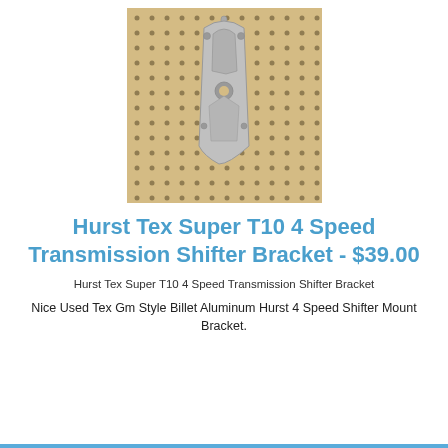[Figure (photo): A silver/aluminum billet metal transmission shifter bracket mounted on a pegboard wall (light tan/wood color with evenly spaced holes). The bracket is roughly shield/tombstone shaped with cutouts and holes for mounting.]
Hurst Tex Super T10 4 Speed Transmission Shifter Bracket - $39.00
Hurst Tex Super T10 4 Speed Transmission Shifter Bracket
Nice Used Tex Gm Style Billet Aluminum Hurst 4 Speed Shifter Mount Bracket.